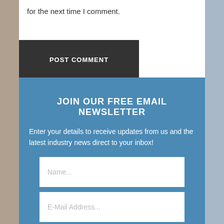for the next time I comment.
POST COMMENT
JOIN OUR FREE EMAIL NEWSLETTER
Enter your details to receive updates from us and the latest industry news direct to your inbox!
Name...
E-Mail Address...
SUBSCRIBE NOW